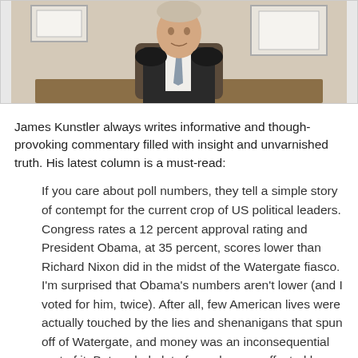[Figure (illustration): Illustration of a man in a suit and tie sitting at a desk, viewed from slightly below, with framed items on the wall behind him.]
James Kunstler always writes informative and though-provoking commentary filled with insight and unvarnished truth.  His latest column is a must-read:
If you care about poll numbers, they tell a simple story of contempt for the current crop of US political leaders. Congress rates a 12 percent approval rating and President Obama, at 35 percent, scores lower than Richard Nixon did in the midst of the Watergate fiasco. I'm surprised that Obama's numbers aren't lower (and I voted for him, twice). After all, few American lives were actually touched by the lies and shenanigans that spun off of Watergate, and money was an inconsequential part of it. But a whole lot of people were affected by Obama's dissimulations around the Affordable Care Act, while his tragic failure to reestablish the rule of law in banking